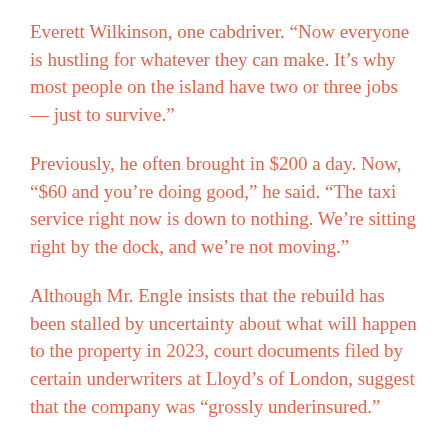Everett Wilkinson, one cabdriver. “Now everyone is hustling for whatever they can make. It’s why most people on the island have two or three jobs — just to survive.”
Previously, he often brought in $200 a day. Now, “$60 and you’re doing good,” he said. “The taxi service right now is down to nothing. We’re sitting right by the dock, and we’re not moving.”
Although Mr. Engle insists that the rebuild has been stalled by uncertainty about what will happen to the property in 2023, court documents filed by certain underwriters at Lloyd’s of London, suggest that the company was “grossly underinsured.”
So far the company has received $32 million for a claim of total devastation following Hurricane Irma